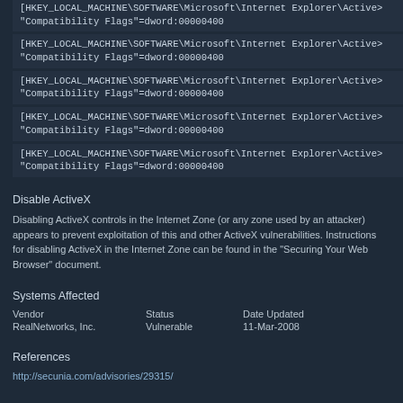[HKEY_LOCAL_MACHINE\SOFTWARE\Microsoft\Internet Explorer\Active\ "Compatibility Flags"=dword:00000400
[HKEY_LOCAL_MACHINE\SOFTWARE\Microsoft\Internet Explorer\Active\ "Compatibility Flags"=dword:00000400
[HKEY_LOCAL_MACHINE\SOFTWARE\Microsoft\Internet Explorer\Active\ "Compatibility Flags"=dword:00000400
[HKEY_LOCAL_MACHINE\SOFTWARE\Microsoft\Internet Explorer\Active\ "Compatibility Flags"=dword:00000400
[HKEY_LOCAL_MACHINE\SOFTWARE\Microsoft\Internet Explorer\Active\ "Compatibility Flags"=dword:00000400
Disable ActiveX
Disabling ActiveX controls in the Internet Zone (or any zone used by an attacker) appears to prevent exploitation of this and other ActiveX vulnerabilities. Instructions for disabling ActiveX in the Internet Zone can be found in the "Securing Your Web Browser" document.
Systems Affected
| Vendor | Status | Date Updated |
| --- | --- | --- |
| RealNetworks, Inc. | Vulnerable | 11-Mar-2008 |
References
http://secunia.com/advisories/29315/